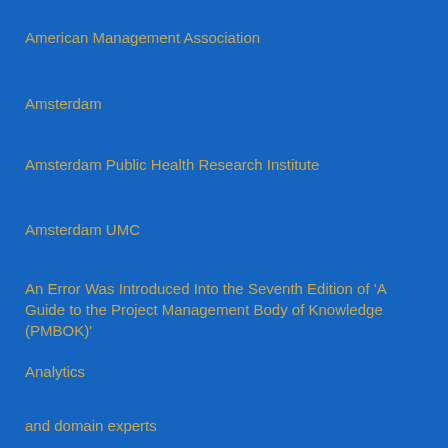American Management Association
Amsterdam
Amsterdam Public Health Research Institute
Amsterdam UMC
An Error Was Introduced Into the Seventh Edition of 'A Guide to the Project Management Body of Knowledge (PMBOK)'
Analytics
and domain experts
and Tools for Managing Innovation Projects
Anishka Abraham